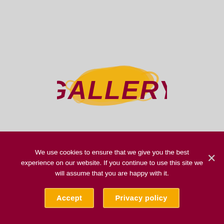[Figure (logo): Gallery logo: bold dark red italic uppercase text 'GALLERY' with a golden brushstroke paint splash behind it, on a light gray background]
We use cookies to ensure that we give you the best experience on our website. If you continue to use this site we will assume that you are happy with it.
Accept
Privacy policy